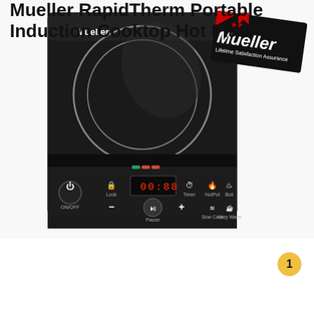[Figure (photo): Mueller RapidTherm Portable Induction Cooktop Hot Plate product photo. A black induction cooktop with a large circular cooking zone on a glossy black surface. The front panel has ON/OFF power button, Lock button, minus button, Play/Pause button, plus button, Timer button, HotPot button, Boil button, Slow Cook button, Keep Warm button, and a red LED digital display showing 00:88. A Mueller brand tag with 'Lifetime Satisfaction Assurance' is visible in the upper right corner. Mueller logo appears in white text on the cooktop surface.]
Mueller RapidTherm Portable Induction Cooktop Hot Plate